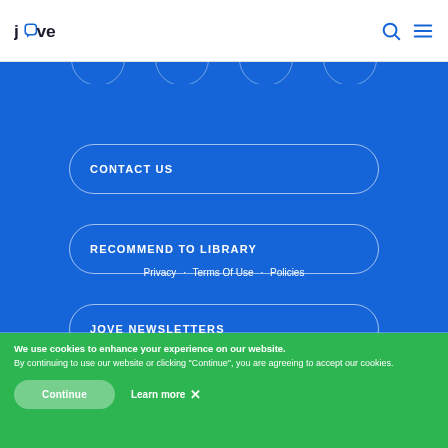JoVE
CONTACT US
RECOMMEND TO LIBRARY
JOVE NEWSLETTERS
Privacy · Terms Of Use · Policies
We use cookies to enhance your experience on our website. By continuing to use our website or clicking "Continue", you are agreeing to accept our cookies.